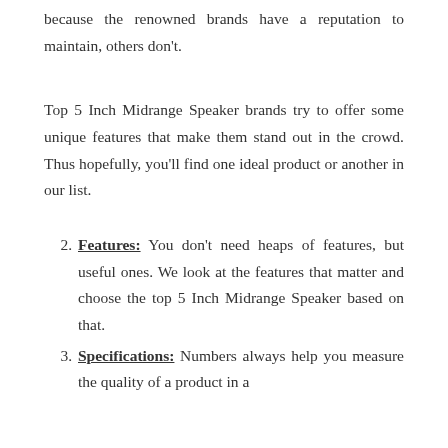because the renowned brands have a reputation to maintain, others don't.
Top 5 Inch Midrange Speaker brands try to offer some unique features that make them stand out in the crowd. Thus hopefully, you'll find one ideal product or another in our list.
2. Features: You don't need heaps of features, but useful ones. We look at the features that matter and choose the top 5 Inch Midrange Speaker based on that.
3. Specifications: Numbers always help you measure the quality of a product in a